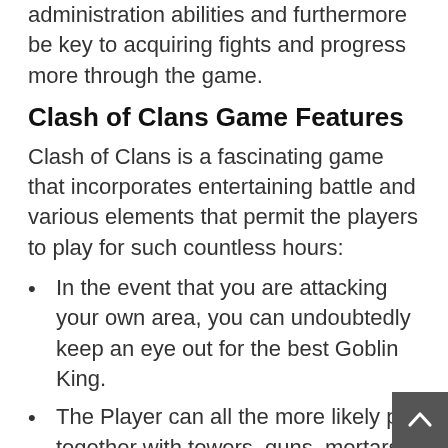administration abilities and furthermore be key to acquiring fights and progress more through the game.
Clash of Clans Game Features
Clash of Clans is a fascinating game that incorporates entertaining battle and various elements that permit the players to play for such countless hours:
In the event that you are attacking your own area, you can undoubtedly keep an eye out for the best Goblin King.
The Player can all the more likely put together with towers, guns, mortars, bombs, traps, and incredible dividers to defend their residents